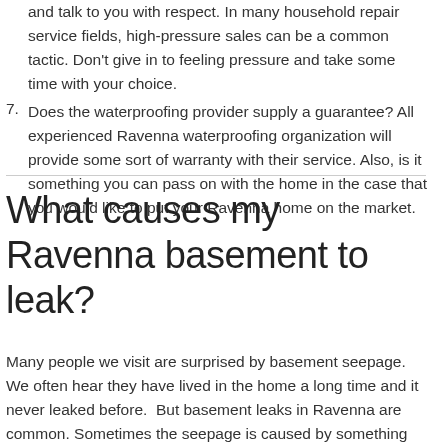and talk to you with respect. In many household repair service fields, high-pressure sales can be a common tactic. Don't give in to feeling pressure and take some time with your choice.
7. Does the waterproofing provider supply a guarantee? All experienced Ravenna waterproofing organization will provide some sort of warranty with their service. Also, is it something you can pass on with the home in the case that you would like to put your Ravenna home on the market.
What causes my Ravenna basement to leak?
Many people we visit are surprised by basement seepage. We often hear they have lived in the home a long time and it never leaked before.  But basement leaks in Ravenna are common. Sometimes the seepage is caused by something